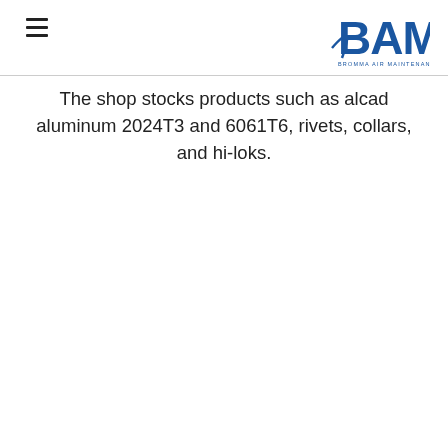BAM – Bromma Air Maintenance (logo) with hamburger menu
The shop stocks products such as alcad aluminum 2024T3 and 6061T6, rivets, collars, and hi-loks.